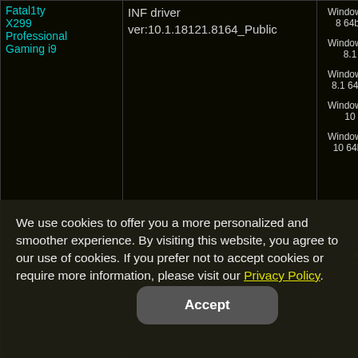| Product | Driver | OS | Date |
| --- | --- | --- | --- |
| Fatal1ty X299 Professional Gaming i9 | INF driver ver:10.1.18121.8164_Public | Windows 8 64bit
Windows 8.1
Windows 8.1 64bit
Windows 10
Windows 10 64bit | 6/1 |
|  |  | Windows 7
Windows... |  |
We use cookies to offer you a more personalized and smoother experience. By visiting this website, you agree to our use of cookies. If you prefer not to accept cookies or require more information, please visit our Privacy Policy.
Accept